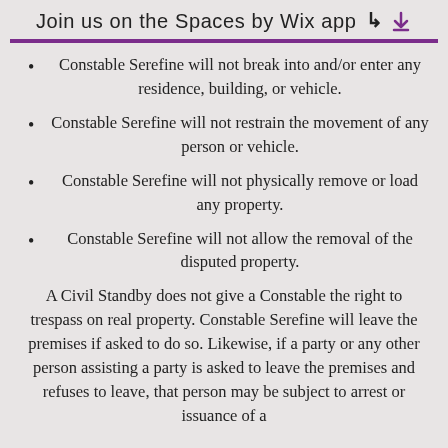Join us on the Spaces by Wix app
Constable Serefine will not break into and/or enter any residence, building, or vehicle.
Constable Serefine will not restrain the movement of any person or vehicle.
Constable Serefine will not physically remove or load any property.
Constable Serefine will not allow the removal of the disputed property.
A Civil Standby does not give a Constable the right to trespass on real property. Constable Serefine will leave the premises if asked to do so. Likewise, if a party or any other person assisting a party is asked to leave the premises and refuses to leave, that person may be subject to arrest or issuance of a